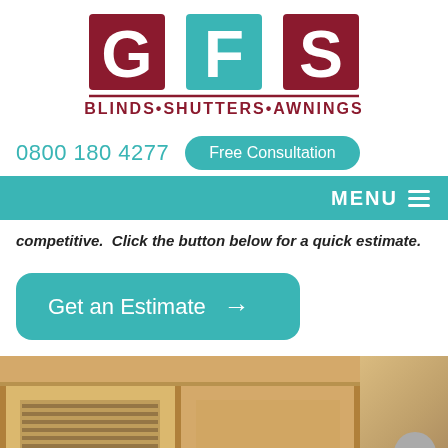[Figure (logo): GFS Blinds Shutters Awnings logo with large red/maroon block letters G, F, S on teal background squares, and subtitle text BLINDS•SHUTTERS•AWNINGS underlined]
0800 180 4277
Free Consultation
MENU
competitive.  Click the button below for a quick estimate.
Get an Estimate →
[Figure (photo): Photo of solid wood shutters/cabinets in warm light wood tone]
Solid Wood Shutters